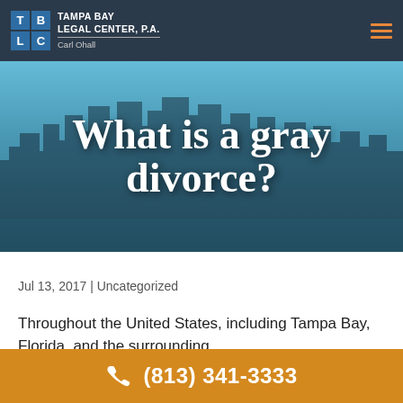[Figure (logo): Tampa Bay Legal Center P.A. logo with TBLC grid and attorney name Carl Ohall]
[Figure (photo): City skyline of Tampa Bay, Florida with blue sky background and overlaid title text 'What is a gray divorce?']
What is a gray divorce?
Jul 13, 2017 | Uncategorized
Throughout the United States, including Tampa Bay, Florida, and the surrounding
(813) 341-3333